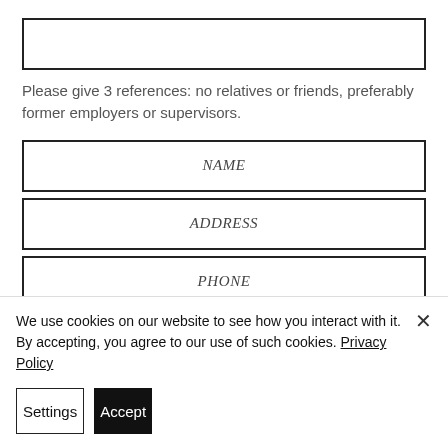[Figure (other): Empty text input box at top of form]
Please give 3 references: no relatives or friends, preferably former employers or supervisors.
[Figure (other): Form input field labeled NAME]
[Figure (other): Form input field labeled ADDRESS]
[Figure (other): Form input field labeled PHONE]
[Figure (other): Form input field labeled NAME (second reference, partially visible)]
We use cookies on our website to see how you interact with it. By accepting, you agree to our use of such cookies. Privacy Policy
Settings
Accept